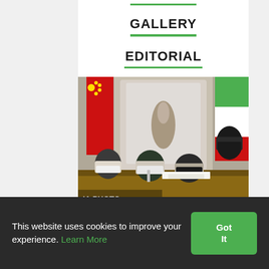GALLERY
EDITORIAL
[Figure (photo): Officials wearing face masks seated at a table signing documents, with Chinese and Iranian flags in the background and ornate mirrored decor. Text overlay reads 'IA PHOTO' and 'Forotan'.]
This website uses cookies to improve your experience. Learn More
Got It